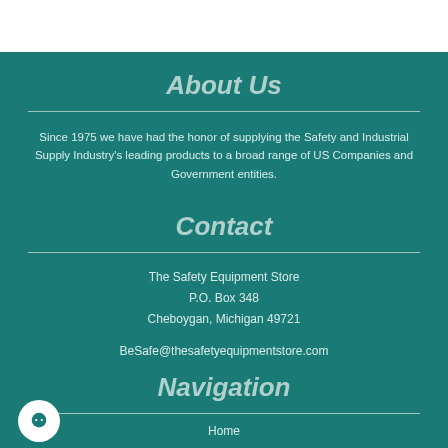About Us
Since 1975 we have had the honor of supplying the Safety and Industrial Supply Industry's leading products to a broad range of US Companies and Government entities.
Contact
The Safety Equipment Store
P.O. Box 348
Cheboygan, Michigan 49721
BeSafe@thesafetyequipmentstore.com
Navigation
Home